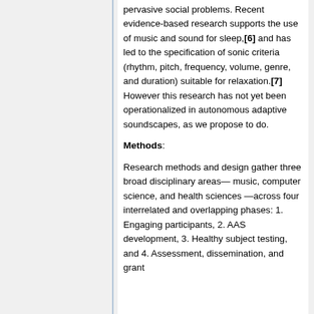pervasive social problems. Recent evidence-based research supports the use of music and sound for sleep,[6] and has led to the specification of sonic criteria (rhythm, pitch, frequency, volume, genre, and duration) suitable for relaxation.[7] However this research has not yet been operationalized in autonomous adaptive soundscapes, as we propose to do.
Methods:
Research methods and design gather three broad disciplinary areas— music, computer science, and health sciences —across four interrelated and overlapping phases: 1. Engaging participants, 2. AAS development, 3. Healthy subject testing, and 4. Assessment, dissemination, and grant